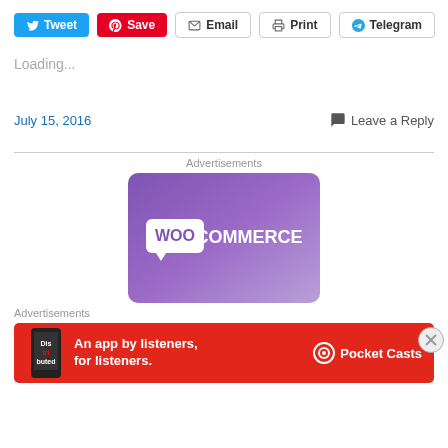Tweet | Save | Email | Print | Telegram
Loading...
July 15, 2016  |  Leave a Reply
[Figure (illustration): WooCommerce advertisement banner with purple background and WooCommerce logo]
Advertisements
[Figure (illustration): Pocket Casts advertisement: An app by listeners, for listeners.]